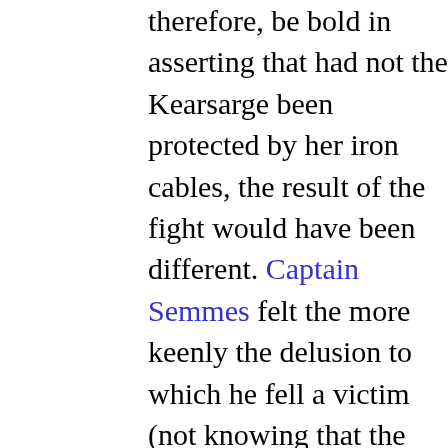therefore, be bold in asserting that had not the Kearsarge been protected by her iron cables, the result of the fight would have been different. Captain Semmes felt the more keenly the delusion to which he fell a victim (not knowing that the Kearsarge was chain-clad) from the fact that he was exceeding his instructions in seeking an action with the enemy; but to seek a fight with an iron-clad he conceived to be an unpardonable error. However, he had the satisfaction of knowing she was classed as a wooden gun-boat by the Federal Government; also that he had inspected her with most excellent glasses, and so far as outward appearances showed she displayed no chain armor. At the same time